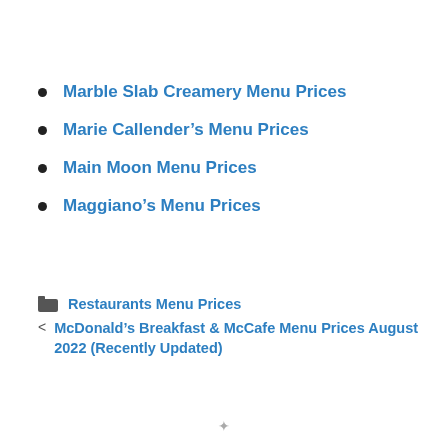Marble Slab Creamery Menu Prices
Marie Callender's Menu Prices
Main Moon Menu Prices
Maggiano's Menu Prices
Restaurants Menu Prices
< McDonald's Breakfast & McCafe Menu Prices August 2022 (Recently Updated)